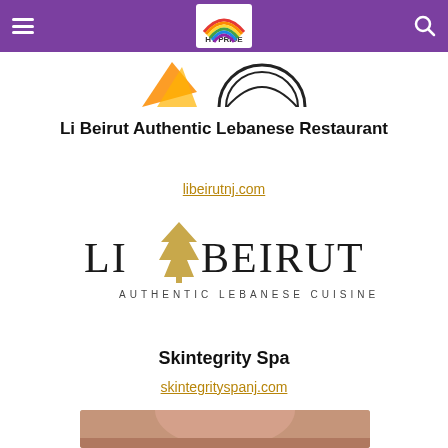HT PRIDE
[Figure (logo): Partial logos visible at top of page: orange shape and circular black/white logo]
Li Beirut Authentic Lebanese Restaurant
libeirutnj.com
[Figure (logo): Li Beirut logo: text LI BEIRUT with a cedar tree icon, subtitle AUTHENTIC LEBANESE CUISINE, in dark/gold color]
Skintegrity Spa
skintegrityspanj.com
[Figure (photo): Bottom portion of a person's face/neck photo, partially visible]